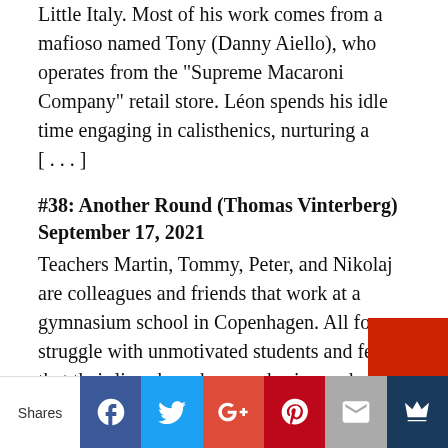Little Italy. Most of his work comes from a mafioso named Tony (Danny Aiello), who operates from the "Supreme Macaroni Company" retail store. Léon spends his idle time engaging in calisthenics, nurturing a [...]
#38: Another Round (Thomas Vinterberg) September 17, 2021
Teachers Martin, Tommy, Peter, and Nikolaj are colleagues and friends that work at a gymnasium school in Copenhagen. All four struggle with unmotivated students and feel that their lives have become boring and stale. At a dinner celebrating Nikolaj's 40th birthday, the group begins to discuss psychiatrist Finn Skårderud, who has theorized that humans are [...]
#37: The Magnificent Seven (John Sturges) August 10, 2021
A bandit terrorizes a small Mexican farming village and